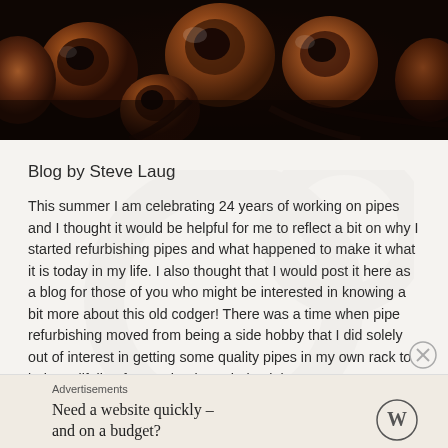[Figure (photo): Close-up photo of multiple wooden tobacco pipes, showing brown and reddish-brown bowls arranged together against a dark background.]
Blog by Steve Laug
This summer I am celebrating 24 years of working on pipes and I thought it would be helpful for me to reflect a bit on why I started refurbishing pipes and what happened to make it what it is today in my life. I also thought that I would post it here as a blog for those of you who might be interested in knowing a bit more about this old codger! There was a time when pipe refurbishing moved from being a side hobby that I did solely out of interest in getting some quality pipes in my own rack to being a lifeline for me that brought back lost
Advertisements
Need a website quickly – and on a budget?